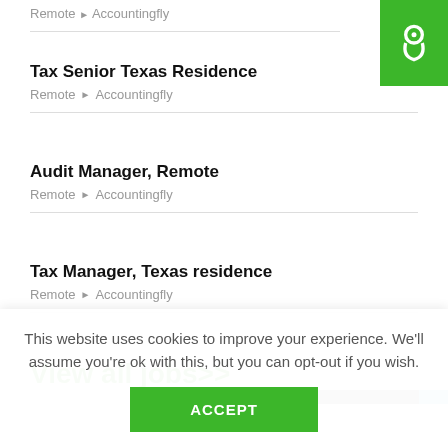Remote ▸ Accountingfly
[Figure (logo): Green square logo with white Scribd-style icon]
Tax Senior Texas Residence
Remote ▸ Accountingfly
Audit Manager, Remote
Remote ▸ Accountingfly
Tax Manager, Texas residence
Remote ▸ Accountingfly
View all jobs>>
This website uses cookies to improve your experience. We'll assume you're ok with this, but you can opt-out if you wish.
ACCEPT